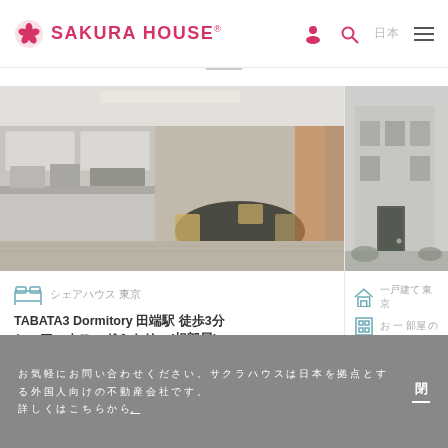SAKURA HOUSE
[Figure (photo): Kitchen and dining area of a share house, showing counters, appliances, dining table and chairs]
シェアハウス 東京 田端区
TABATA3 Dormitory 田端駅 徒歩3分 シェアハウス・ドミトリー(相部屋)
[Figure (photo): Exterior of a building, grey facade with door visible]
一戸建て 東京
お 一 部屋 の 貸し
最 寄 り 駅 か ら 徒 歩 （東
お気軽にお問い合わせください。サクラハウスは 日本 を 拠点 とする 外国人 向けの 不動産会社です。
詳しくはこちらから。